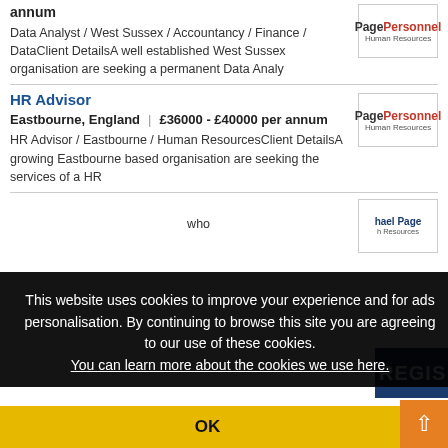annum
Data Analyst / West Sussex / Accountancy / Finance / DataClient DetailsA well established West Sussex organisation are seeking a permanent Data Analy
HR Advisor
Eastbourne, England | £36000 - £40000 per annum
HR Advisor / Eastbourne / Human ResourcesClient DetailsA growing Eastbourne based organisation are seeking the services of a HR
This website uses cookies to improve your experience and for ads personalisation. By continuing to browse this site you are agreeing to our use of these cookies. You can learn more about the cookies we use here.
OK